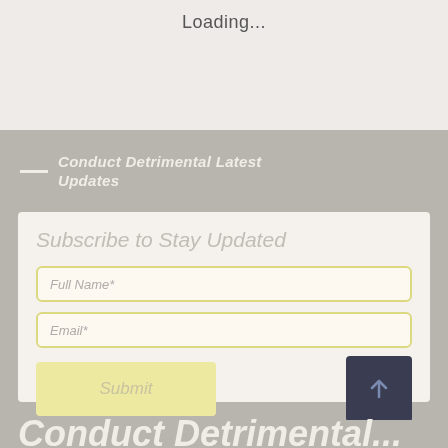Loading...
— Conduct Detrimental Latest Updates
Subscribe to Stay Updated
Full Name*
Email*
Submit
Conduct Detrimental ...